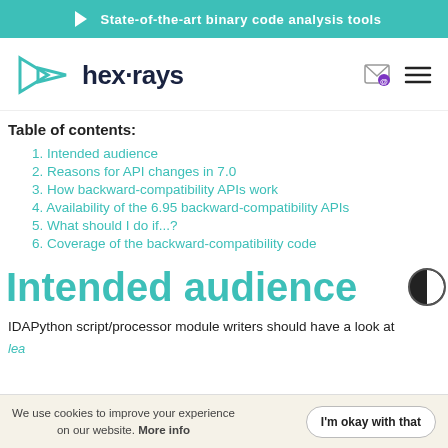State-of-the-art binary code analysis tools
[Figure (logo): Hex-Rays logo with teal arrow/triangle icon and dark blue 'hex-rays' wordmark]
Table of contents:
1. Intended audience
2. Reasons for API changes in 7.0
3. How backward-compatibility APIs work
4. Availability of the 6.95 backward-compatibility APIs
5. What should I do if...?
6. Coverage of the backward-compatibility code
Intended audience
IDAPython script/processor module writers should have a look at
We use cookies to improve your experience on our website. More info
I'm okay with that